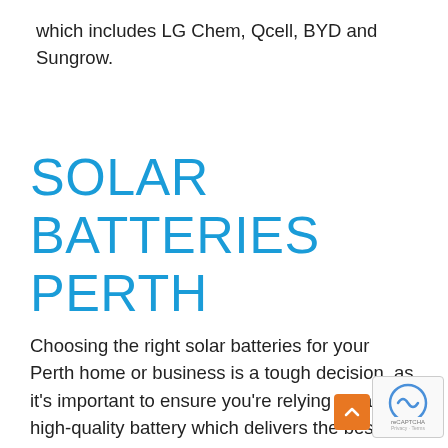which includes LG Chem, Qcell, BYD and Sungrow.
SOLAR BATTERIES PERTH
Choosing the right solar batteries for your Perth home or business is a tough decision, as it's important to ensure you're relying on a high-quality battery which delivers the best performance for your solar panels. At Solarkings, we only select leading, long l[asting…]